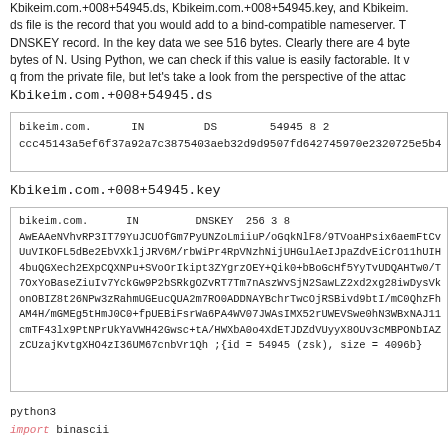Kbikeim.com.+008+54945.ds, Kbikeim.com.+008+54945.key, and Kbikeim. ds file is the record that you would add to a bind-compatible nameserver. T DNSKEY record. In the key data we see 516 bytes. Clearly there are 4 byte bytes of N. Using Python, we can check if this value is easily factorable. It v q from the private file, but let's take a look from the perspective of the attac
Kbikeim.com.+008+54945.ds
| bikeim.com.      IN         DS        54945 8 2 |
| ccc45143a5ef6f37a92a7c3875403aeb32d9d9507fd642745970e2320725e5b4 |
Kbikeim.com.+008+54945.key
| bikeim.com.      IN         DNSKEY  256 3 8 |
| AwEAAeNVhvRP3IT79YuJCUOfGm7PyUNZoLmiiuP/oGqkNlF8/9TVoaHPsix6aemFtCv |
| UuVIKOFL5dBe2EbVXkljJRV6M/rbWiPr4RpVNzhNijUHGulAeIJpaZdvEiCrO11hUIH |
| 4buQGXech2EXpCQXNPu+SVoOrIkipt3ZYgrzOEY+Qik0+bBoGcHf5YyTvUDQAHTw0/T |
| 7OxYoBaseZiuIv7YckGw9P2bSRkgOZvRT7Tm7nAszWvSjN2SawLZ2xd2xg28iwDysVk |
| onOBIZ8t26NPw3zRahmUGEucQUA2m7RO0ADDNAYBchrTwcOjRSBivd9btI/mC0QhzFh |
| AM4H/mGMEg5tHmJ0C0+fpUEBiFsrWa6PA4WV07JWAsIMX52rUWEVSwe0hN3WBxNAJ11 |
| cmTF43lx9PtNPrUkYaVWH42Gwsc+tA/HWXbA0o4XdETJDZdVUyyX8OUv3cMBPONbIAZ |
| zCUzajKvtgXHO4zI36UM67cnbVr1Qh ;{id = 54945 (zsk), size = 4096b} |
python3
import binascii